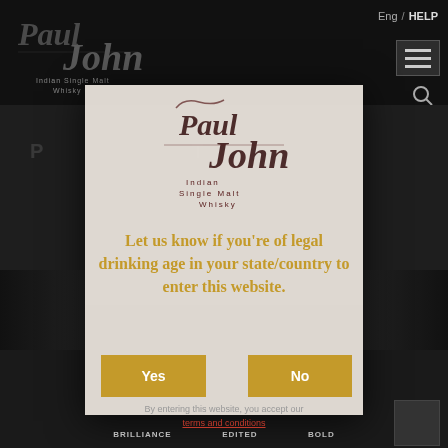[Figure (screenshot): Paul John Indian Single Malt Whisky website with age verification modal overlay. Dark background with Paul John logo top-left, navigation with language selector and HELP link top-right, hamburger menu button, and search icon. Central modal dialog with Paul John logo, age verification message in golden text, Yes and No buttons in golden/amber color, terms and conditions link, and product category labels at bottom.]
Eng / HELP
[Figure (logo): Paul John Indian Single Malt Whisky logo - stylized script lettering in dark/black color]
Let us know if you're of legal drinking age in your state/country to enter this website.
Yes
No
By entering this website, you accept our
terms and conditions
BRILLIANCE    EDITED    BOLD